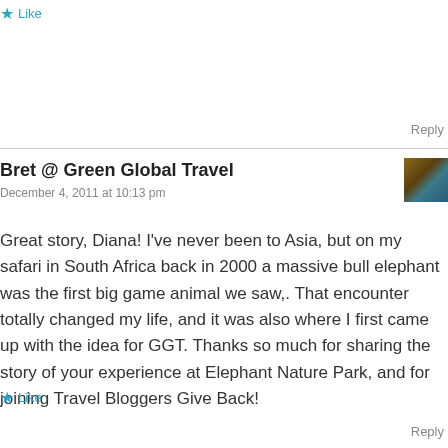★ Like
Reply
Bret @ Green Global Travel
December 4, 2011 at 10:13 pm
[Figure (photo): Small avatar photo of a person outdoors with blue/teal background]
Great story, Diana! I've never been to Asia, but on my safari in South Africa back in 2000 a massive bull elephant was the first big game animal we saw,. That encounter totally changed my life, and it was also where I first came up with the idea for GGT. Thanks so much for sharing the story of your experience at Elephant Nature Park, and for joining Travel Bloggers Give Back!
★ Like
Reply